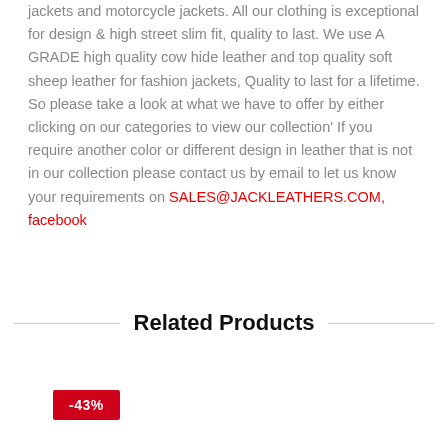jackets and motorcycle jackets. All our clothing is exceptional for design & high street slim fit, quality to last. We use A GRADE high quality cow hide leather and top quality soft sheep leather for fashion jackets, Quality to last for a lifetime.
So please take a look at what we have to offer by either clicking on our categories to view our collection' If you require another color or different design in leather that is not in our collection please contact us by email to let us know your requirements on SALES@JACKLEATHERS.COM, facebook
Related Products
-43%